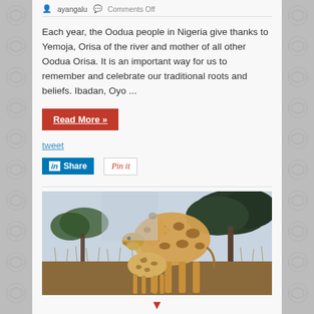ayangalu  Comments Off
Each year, the Oodua people in Nigeria give thanks to Yemoja, Orisa of the river and mother of all other Oodua Orisa. It is an important way for us to remember and celebrate our traditional roots and beliefs. Ibadan, Oyo ...
Read More »
tweet
Share
Pin it
[Figure (photo): Two giraffes in the African savanna — a large giraffe bending its neck down toward a smaller one, with dry grass and acacia trees in the background.]